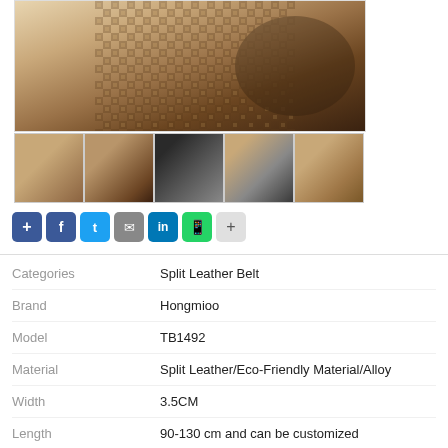[Figure (photo): Product photo of split leather belt with woven pattern texture, shown with belt buckle]
[Figure (photo): Thumbnail 1: tan/brown woven texture belt]
[Figure (photo): Thumbnail 2: brown leather belt with buckle]
[Figure (photo): Thumbnail 3: dark/black belt buckle close-up]
[Figure (photo): Thumbnail 4: belt buckle detail]
[Figure (photo): Thumbnail 5: woven belt texture close-up]
Share buttons: Share, Facebook, Twitter, Email, LinkedIn, WhatsApp, More
| Field | Value |
| --- | --- |
| Categories | Split Leather Belt |
| Brand | Hongmioo |
| Model | TB1492 |
| Material | Split Leather/Eco-Friendly Material/Alloy |
| Width | 3.5CM |
| Length | 90-130 cm and can be customized |
| Color | Black/Brown or Customized |
| HS Code | 4203301090/3926209000 |
| Chemical Test | Cd, Pb, Hg, Se, Cr, Ba, As, Sb, |